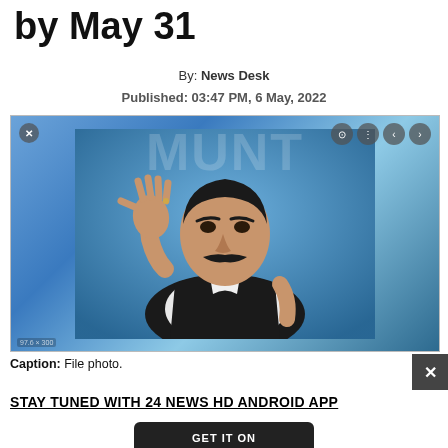by May 31
By: News Desk
Published: 03:47 PM, 6 May, 2022
[Figure (photo): A man in a black vest and white shirt raises his hand, speaking at what appears to be a press conference. A blue background with text is visible behind him. Image controls (X, navigation arrows) are overlaid. Watermark text visible in upper background.]
Caption: File photo.
STAY TUNED WITH 24 NEWS HD ANDROID APP
[Figure (other): GET IT ON button (Google Play store button, partially visible at bottom)]